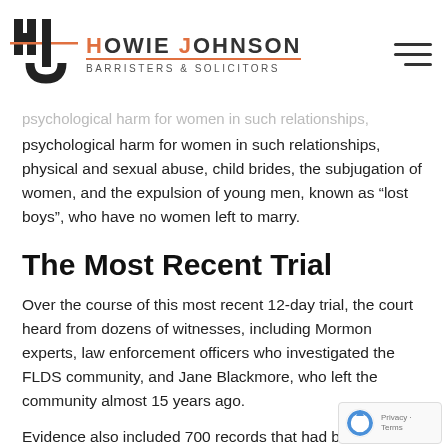Howie Johnson Barristers & Solicitors
psychological harm for women in such relationships, physical and sexual abuse, child brides, the subjugation of women, and the expulsion of young men, known as “lost boys”, who have no women left to marry.
The Most Recent Trial
Over the course of this most recent 12-day trial, the court heard from dozens of witnesses, including Mormon experts, law enforcement officers who investigated the FLDS community, and Jane Blackmore, who left the community almost 15 years ago.
Evidence also included 700 records that had been seized from an FLDS compound in Texas as part of a